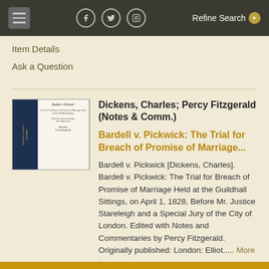Item Details  Ask a Question  Refine Search
Item Details
Ask a Question
Dickens, Charles; Percy Fitzgerald (Notes & Comm.)
Bardell v. Pickwick: The Trial for Breach of Promise of Marriage...
Bardell v. Pickwick [Dickens, Charles]. Bardell v. Pickwick: The Trial for Breach of Promise of Marriage Held at the Guildhall Sittings, on April 1, 1828, Before Mr. Justice Stareleigh and a Special Jury of the City of London. Edited with Notes and Commentaries by Percy Fitzgerald. Originally published: London: Elliot..... More ›